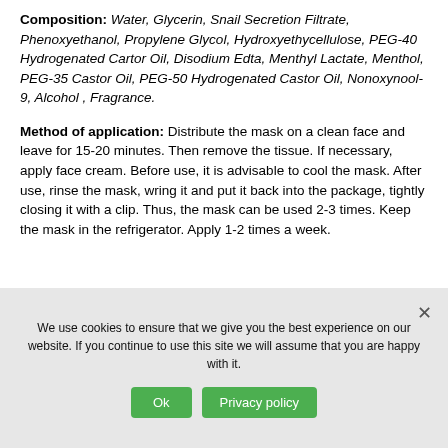Composition: Water, Glycerin, Snail Secretion Filtrate, Phenoxyethanol, Propylene Glycol, Hydroxyethycellulose, PEG-40 Hydrogenated Cartor Oil, Disodium Edta, Menthyl Lactate, Menthol, PEG-35 Castor Oil, PEG-50 Hydrogenated Castor Oil, Nonoxynool-9, Alcohol , Fragrance.
Method of application: Distribute the mask on a clean face and leave for 15-20 minutes. Then remove the tissue. If necessary, apply face cream. Before use, it is advisable to cool the mask. After use, rinse the mask, wring it and put it back into the package, tightly closing it with a clip. Thus, the mask can be used 2-3 times. Keep the mask in the refrigerator. Apply 1-2 times a week.
We use cookies to ensure that we give you the best experience on our website. If you continue to use this site we will assume that you are happy with it.